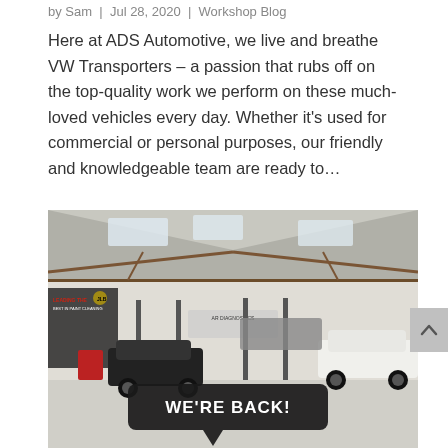by Sam  |  Jul 28, 2020  |  Workshop Blog
Here at ADS Automotive, we live and breathe VW Transporters – a passion that rubs off on the top-quality work we perform on these much-loved vehicles every day. Whether it's used for commercial or personal purposes, our friendly and knowledgeable team are ready to…
[Figure (photo): Interior of an automotive workshop/garage with multiple cars on lifts and parked, large open space with metal roof, signs on walls, and a speech bubble overlay reading WE'RE BACK! in bold white text on dark background]